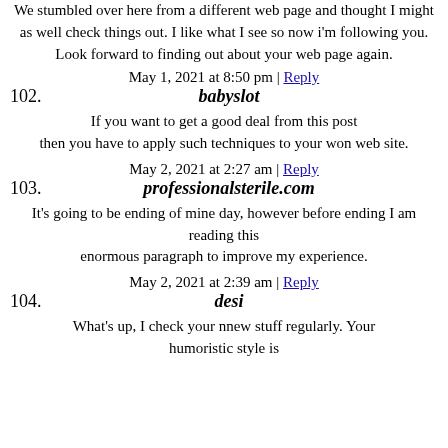We stumbled over here from a different web page and thought I might as well check things out. I like what I see so now i'm following you. Look forward to finding out about your web page again.
May 1, 2021 at 8:50 pm | Reply
102. babyslot
If you want to get a good deal from this post then you have to apply such techniques to your won web site.
May 2, 2021 at 2:27 am | Reply
103. professionalsterile.com
It's going to be ending of mine day, however before ending I am reading this enormous paragraph to improve my experience.
May 2, 2021 at 2:39 am | Reply
104. desi
What's up, I check your nnew stuff regularly. Your humoristic style is